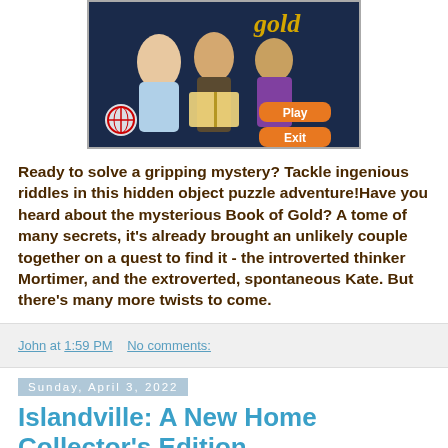[Figure (screenshot): Screenshot of a hidden object game called Book of Gold showing two characters and a book with Play and Exit buttons on a dark blue background]
Ready to solve a gripping mystery? Tackle ingenious riddles in this hidden object puzzle adventure!Have you heard about the mysterious Book of Gold? A tome of many secrets, it's already brought an unlikely couple together on a quest to find it - the introverted thinker Mortimer, and the extroverted, spontaneous Kate. But there's many more twists to come.
John at 1:59 PM    No comments:
Sunday, April 3, 2022
Islandville: A New Home Collector's Edition
[Figure (screenshot): Partial screenshot of Islandville game at the bottom of the page]